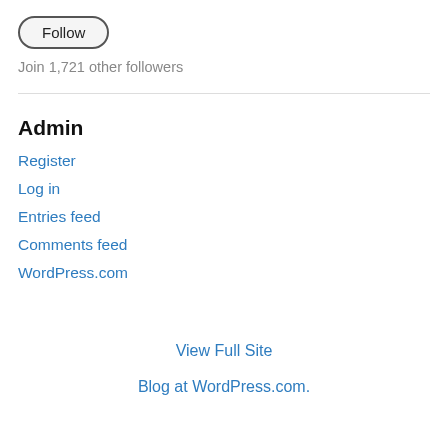[Figure (other): Follow button - oval/pill-shaped button with border labeled 'Follow']
Join 1,721 other followers
Admin
Register
Log in
Entries feed
Comments feed
WordPress.com
View Full Site
Blog at WordPress.com.